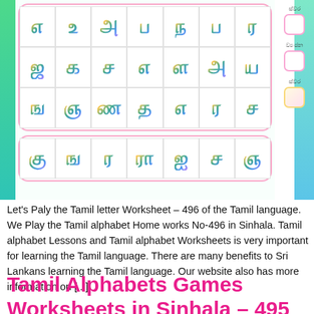[Figure (illustration): Screenshot of a Tamil letter worksheet app showing three rows of Tamil alphabet characters displayed in rainbow/gradient colors inside bordered cells, with Sinhala labels on the right side and score boxes. A partial fourth row is visible at the bottom.]
Let's Paly the Tamil letter Worksheet – 496 of the Tamil language. We Play the Tamil alphabet Home works No-496 in Sinhala. Tamil alphabet Lessons and Tamil alphabet Worksheets is very important for learning the Tamil language. There are many benefits to Sri Lankans learning the Tamil language. Our website also has more information on [...]
Tamil Alphabets Games Worksheets in Sinhala – 495